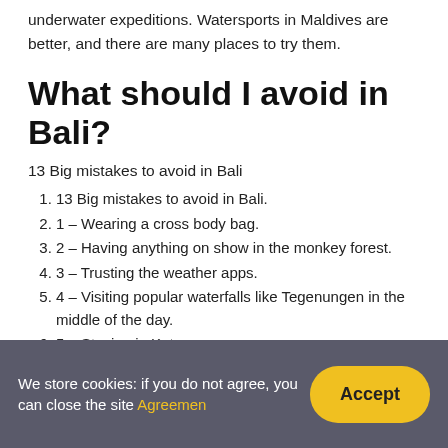underwater expeditions. Watersports in Maldives are better, and there are many places to try them.
What should I avoid in Bali?
13 Big mistakes to avoid in Bali
13 Big mistakes to avoid in Bali.
1 – Wearing a cross body bag.
2 – Having anything on show in the monkey forest.
3 – Trusting the weather apps.
4 – Visiting popular waterfalls like Tegenungen in the middle of the day.
5 – Staying in Kuta.
6 – Not venturing out of the southern part of Bali.
We store cookies: if you do not agree, you can close the site Agreemen